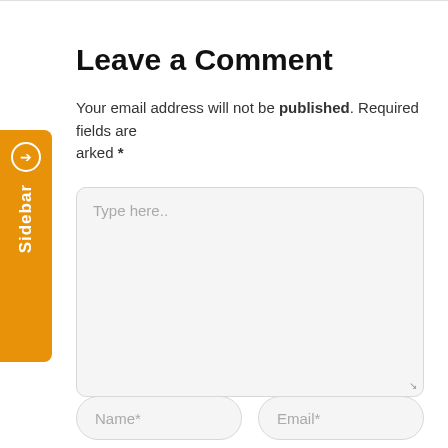Leave a Comment
Your email address will not be published. Required fields are marked *
[Figure (screenshot): Large textarea input box with placeholder text 'Type here..' and a resize handle in the bottom-right corner]
[Figure (screenshot): Two input fields side by side: 'Name*' on the left and 'Email*' on the right, both with rounded pill shape and light gray background]